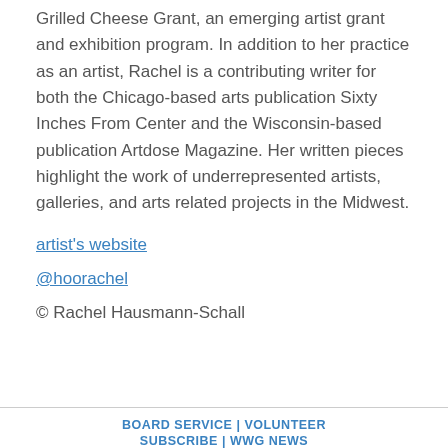Grilled Cheese Grant, an emerging artist grant and exhibition program. In addition to her practice as an artist, Rachel is a contributing writer for both the Chicago-based arts publication Sixty Inches From Center and the Wisconsin-based publication Artdose Magazine. Her written pieces highlight the work of underrepresented artists, galleries, and arts related projects in the Midwest.
artist's website
@hoorachel
© Rachel Hausmann-Schall
BOARD SERVICE | VOLUNTEER
SUBSCRIBE | WWG NEWS